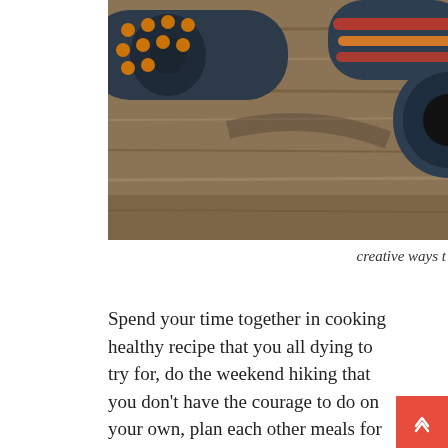[Figure (photo): Dumbbells with orange and red stripes on a wooden surface, partially cropped]
creative ways t
Spend your time together in cooking healthy recipe that you all dying to try for, do the weekend hiking that you don't have the courage to do on your own, plan each other meals for a week. Don't worry about screwing during your trial and error. After all, mindful healthy lifestyle is all about exploring the most suitable approach through personal experience and simple joys in life, and everyone has different idea in doing it.